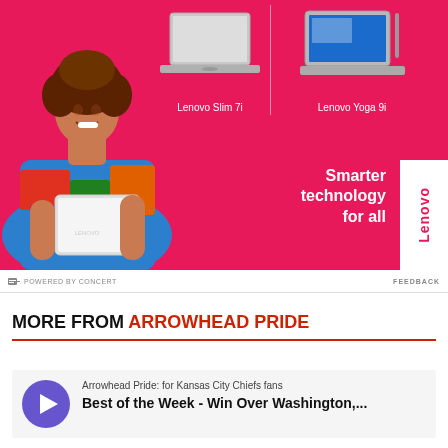[Figure (photo): Lenovo advertisement showing a smiling woman in colorful dress holding a laptop, with Lenovo Slim 7i and Lenovo Yoga 9i laptops displayed on pink/red background. Tagline: Smarter technology for all. Lenovo logo badge.]
POWERED BY CONCERT    FEEDBACK
MORE FROM ARROWHEAD PRIDE
Arrowhead Pride: for Kansas City Chiefs fans
Best of the Week - Win Over Washington,...